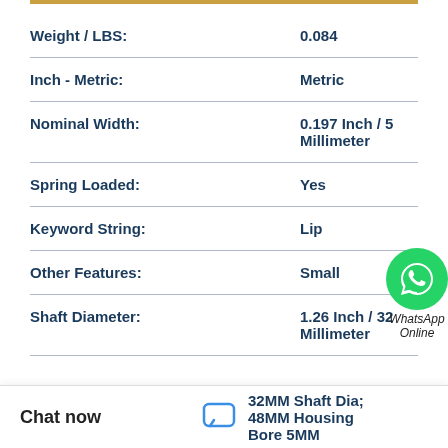| Property | Value |
| --- | --- |
| Weight / LBS: | 0.084 |
| Inch - Metric: | Metric |
| Nominal Width: | 0.197 Inch / 5 Millimeter |
| Spring Loaded: | Yes |
| Keyword String: | Lip |
| Other Features: | Small |
| Shaft Diameter: | 1.26 Inch / 32 Millimeter |
[Figure (logo): WhatsApp Online logo with green phone icon circle and italic text 'WhatsApp Online']
Chat now
32MM Shaft Dia; 48MM Housing Bore 5MM